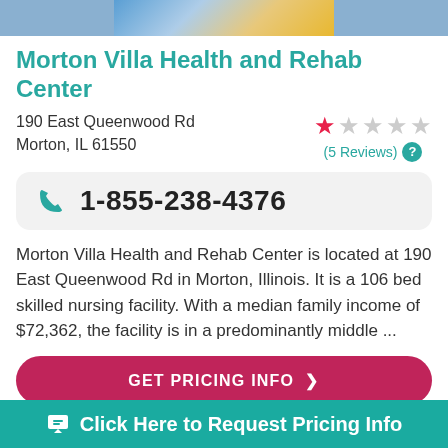[Figure (photo): Top portion of a photo showing a healthcare facility or nursing home scene with blue and yellow tones]
Morton Villa Health and Rehab Center
190 East Queenwood Rd
Morton, IL 61550
★☆☆☆☆ (5 Reviews)
1-855-238-4376
Morton Villa Health and Rehab Center is located at 190 East Queenwood Rd in Morton, Illinois. It is a 106 bed skilled nursing facility. With a median family income of $72,362, the facility is in a predominantly middle ...
GET PRICING INFO ›
Click Here to Request Pricing Info